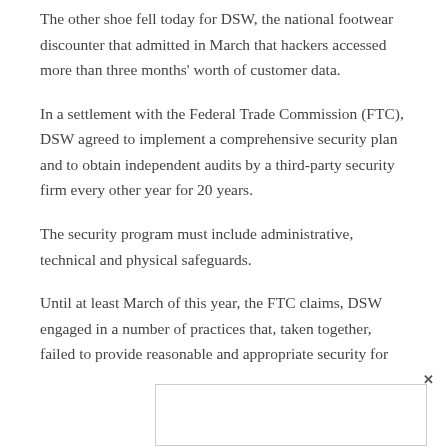The other shoe fell today for DSW, the national footwear discounter that admitted in March that hackers accessed more than three months' worth of customer data.
In a settlement with the Federal Trade Commission (FTC), DSW agreed to implement a comprehensive security plan and to obtain independent audits by a third-party security firm every other year for 20 years.
The security program must include administrative, technical and physical safeguards.
Until at least March of this year, the FTC claims, DSW engaged in a number of practices that, taken together, failed to provide reasonable and appropriate security for sensitive customer information.
The FTC...